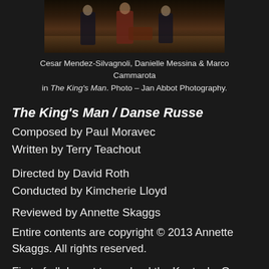[Figure (photo): A photo of performers on stage in The King's Man, partially visible at top of page]
Cesar Mendez-Silvagnoli, Danielle Messina & Marco Cammarota in The King's Man. Photo – Jan Abbot Photography.
The King's Man / Danse Russe
Composed by Paul Moravec
Written by Terry Teachout
Directed by David Roth
Conducted by Kimcherie Lloyd
Reviewed by Annette Skaggs
Entire contents are copyright © 2013 Annette Skaggs. All rights reserved.
First of all, I want to applaud the Kentucky Opera in that they are allowing composers and librettists a place to showcase their works in an effort to introduce the opera-listening